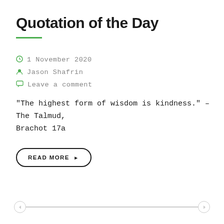Quotation of the Day
1 November 2020
Jason Shafrin
Leave a comment
“The highest form of wisdom is kindness.” – The Talmud, Brachot 17a
READ MORE ▸